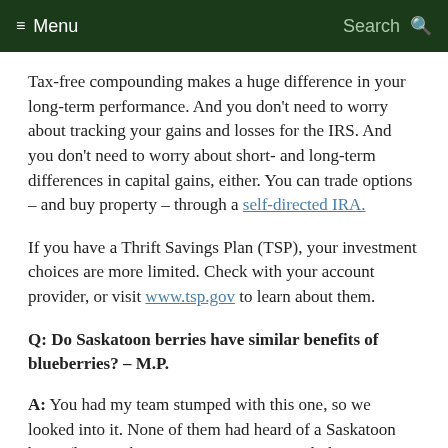≡ Menu    Search 🔍
Tax-free compounding makes a huge difference in your long-term performance. And you don't need to worry about tracking your gains and losses for the IRS. And you don't need to worry about short- and long-term differences in capital gains, either. You can trade options – and buy property – through a self-directed IRA.
If you have a Thrift Savings Plan (TSP), your investment choices are more limited. Check with your account provider, or visit www.tsp.gov to learn about them.
Q: Do Saskatoon berries have similar benefits of blueberries? – M.P.
A: You had my team stumped with this one, so we looked into it. None of them had heard of a Saskatoon berry (here in the U.S., it's more commonly known as a juneberry). For